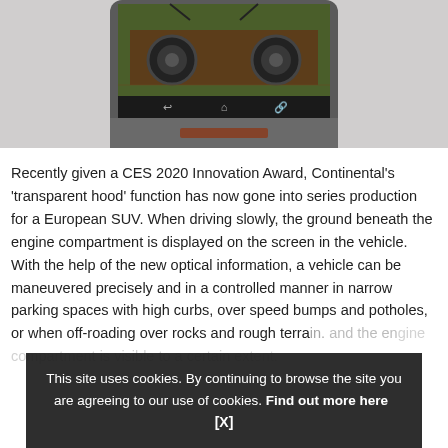[Figure (photo): A tablet/touchscreen device showing a 'transparent hood' view – camera feed of ground beneath a vehicle's engine compartment, showing two round suspension components visible from above on grassy/muddy terrain. Navigation icons (back, home, share) visible at bottom of screen. Device has a dark gray bezel and appears to be a dashboard-mounted display.]
Recently given a CES 2020 Innovation Award, Continental's 'transparent hood' function has now gone into series production for a European SUV. When driving slowly, the ground beneath the engine compartment is displayed on the screen in the vehicle. With the help of the new optical information, a vehicle can be maneuvered precisely and in a controlled manner in narrow parking spaces with high curbs, over speed bumps and potholes, or when off-roading over rocks and rough terrain. [partially obscured] and the en[gine compartment is visible to a certain extent].
This site uses cookies. By continuing to browse the site you are agreeing to our use of cookies. Find out more here    [X]